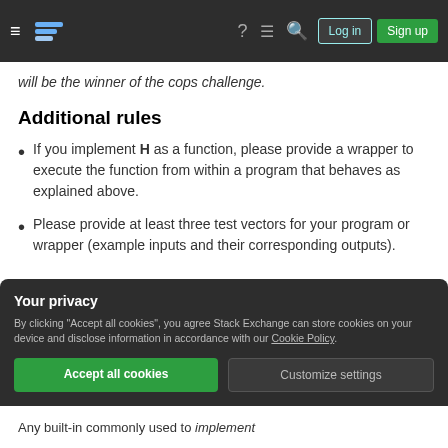Stack Exchange navigation bar with hamburger menu, logo, icons, Log in and Sign up buttons
will be the winner of the cops challenge.
Additional rules
If you implement H as a function, please provide a wrapper to execute the function from within a program that behaves as explained above.
Please provide at least three test vectors for your program or wrapper (example inputs and their corresponding outputs).
Your privacy
By clicking "Accept all cookies", you agree Stack Exchange can store cookies on your device and disclose information in accordance with our Cookie Policy.
Accept all cookies  Customize settings
Any built-in commonly used to implement